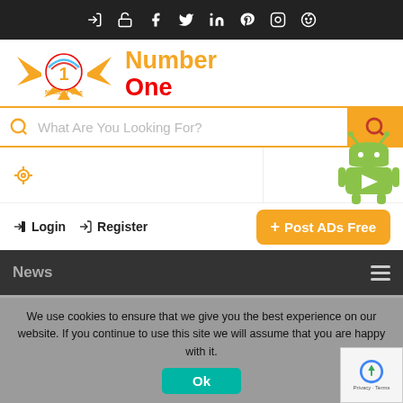Top navigation bar with icons: login, unlock, facebook, twitter, linkedin, pinterest, instagram, reddit
[Figure (logo): Number One logo with orange wings and red Number One text]
What Are You Looking For?
Location input field with target icon
Login  Register  + Post ADs Free
[Figure (screenshot): Dark navigation section with hamburger menu and news label]
We use cookies to ensure that we give you the best experience on our website. If you continue to use this site we will assume that you are happy with it.
Ok